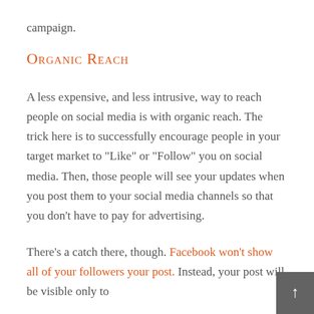campaign.
Organic Reach
A less expensive, and less intrusive, way to reach people on social media is with organic reach. The trick here is to successfully encourage people in your target market to "Like" or "Follow" you on social media. Then, those people will see your updates when you post them to your social media channels so that you don't have to pay for advertising.
There's a catch there, though. Facebook won't show all of your followers your post. Instead, your post will be visible only to